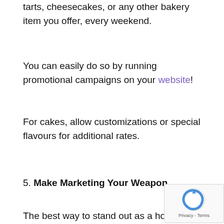tarts, cheesecakes, or any other bakery item you offer, every weekend.
You can easily do so by running promotional campaigns on your website!
For cakes, allow customizations or special flavours for additional rates.
5. Make Marketing Your Weapon
The best way to stand out as a home baker is to keep on marketing. When I visit the pages of home bakers, apart from creative products, I also look out for creative marketing tactics.
Some of the ideas I loved are: